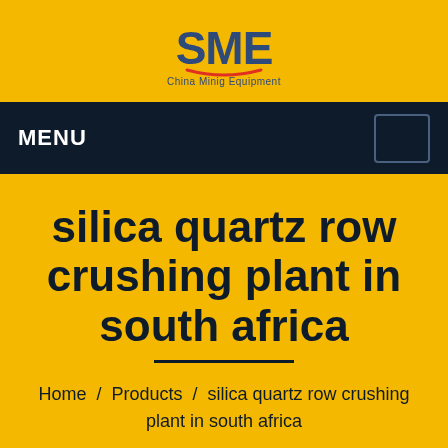[Figure (logo): SME China Mining Equipment logo — bold 'SME' text in dark blue with a red arc underline, and 'China Minig Equipment' text below in smaller dark blue font]
MENU
silica quartz row crushing plant in south africa
Home / Products / silica quartz row crushing plant in south africa